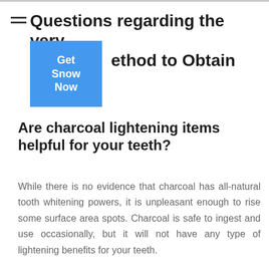Questions regarding the very method to Obtain Brighter
[Figure (other): Blue button/widget overlaid on title area with text 'Get Snow Now']
Are charcoal lightening items helpful for your teeth?
While there is no evidence that charcoal has all-natural tooth whitening powers, it is unpleasant enough to rise some surface area spots. Charcoal is safe to ingest and use occasionally, but it will not have any type of lightening benefits for your teeth.